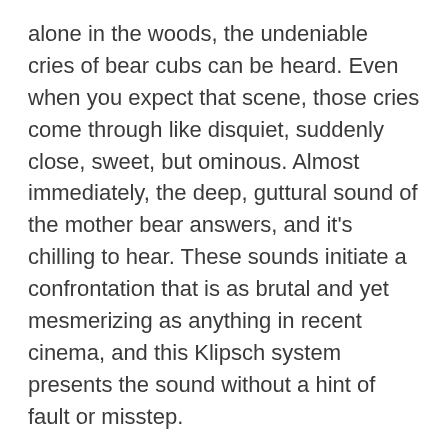alone in the woods, the undeniable cries of bear cubs can be heard. Even when you expect that scene, those cries come through like disquiet, suddenly close, sweet, but ominous. Almost immediately, the deep, guttural sound of the mother bear answers, and it's chilling to hear. These sounds initiate a confrontation that is as brutal and yet mesmerizing as anything in recent cinema, and this Klipsch system presents the sound without a hint of fault or misstep.
The system does have some DSP EQ options within it. An Audio Enhancement toggleable with the remote offers Natural, Dialogue, and Night Mode. There's a separate Bass Boost toggle in the menu for Low-Volume content. There is also a Surround Mode setting that can be changed directly with the remote.